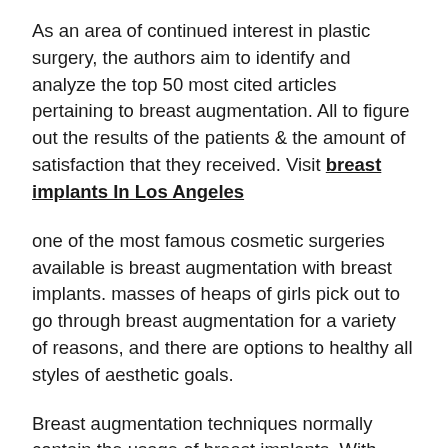As an area of continued interest in plastic surgery, the authors aim to identify and analyze the top 50 most cited articles pertaining to breast augmentation. All to figure out the results of the patients & the amount of satisfaction that they received. Visit breast implants In Los Angeles
one of the most famous cosmetic surgeries available is breast augmentation with breast implants. masses of heaps of girls pick out to go through breast augmentation for a variety of reasons, and there are options to healthy all styles of aesthetic goals.
Breast augmentation techniques normally contain the usage of breast implants. With breast implants, it is possible to change the dimensions and shape of the breasts to be larger and shapelier. Breast implants are available two options: silicone and saline. Saline